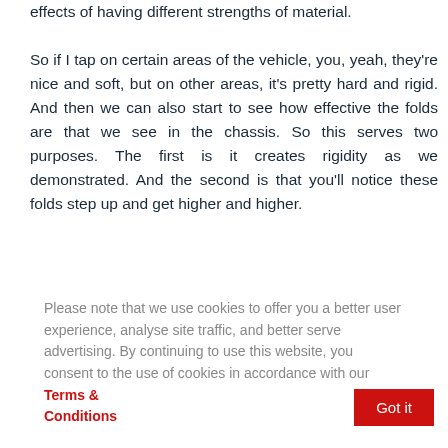effects of having different strengths of material.

So if I tap on certain areas of the vehicle, you, yeah, they're nice and soft, but on other areas, it's pretty hard and rigid. And then we can also start to see how effective the folds are that we see in the chassis. So this serves two purposes. The first is it creates rigidity as we demonstrated. And the second is that you'll notice these folds step up and get higher and higher.
Please note that we use cookies to offer you a better user experience, analyse site traffic, and better serve advertising. By continuing to use this website, you consent to the use of cookies in accordance with our Terms & Conditions